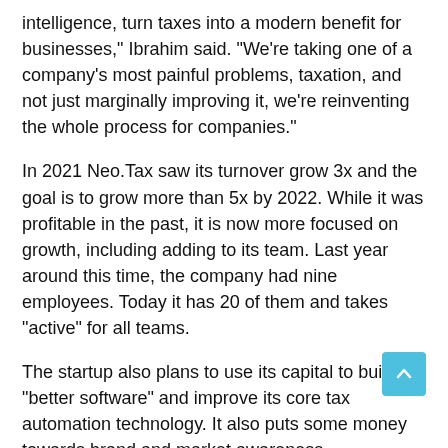intelligence, turn taxes into a modern benefit for businesses," Ibrahim said. "We're taking one of a company's most painful problems, taxation, and not just marginally improving it, we're reinventing the whole process for companies."
In 2021 Neo.Tax saw its turnover grow 3x and the goal is to grow more than 5x by 2022. While it was profitable in the past, it is now more focused on growth, including adding to its team. Last year around this time, the company had nine employees. Today it has 20 of them and takes "active" for all teams.
The startup also plans to use its capital to build "better software" and improve its core tax automation technology. It also puts some money towards brand and market awareness.
The sweet spot is early stage startups including the buzzing fintech Pipe, Stedi, Base Ten, Taika, Casa and Hatch Card.
Looking ahead, Neo.Tax is starting to focus more on accountants. It